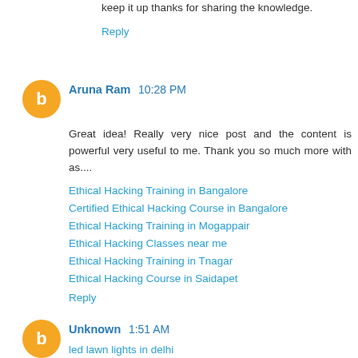keep it up thanks for sharing the knowledge.
Reply
Aruna Ram  10:28 PM
Great idea! Really very nice post and the content is powerful very useful to me. Thank you so much more with as....
Ethical Hacking Training in Bangalore
Certified Ethical Hacking Course in Bangalore
Ethical Hacking Training in Mogappair
Ethical Hacking Classes near me
Ethical Hacking Training in Tnagar
Ethical Hacking Course in Saidapet
Reply
Unknown  1:51 AM
led lawn lights in delhi
Thanks for giving great kind of information. So useful and practical for me. Thanks for your excellent blog, nice work